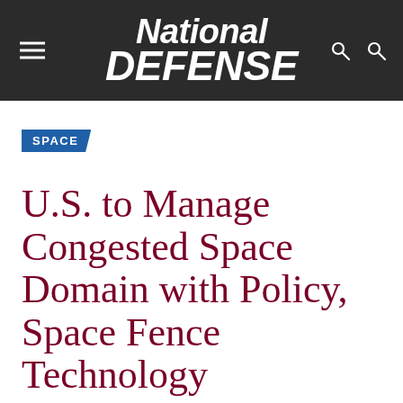National Defense
SPACE
U.S. to Manage Congested Space Domain with Policy, Space Fence Technology